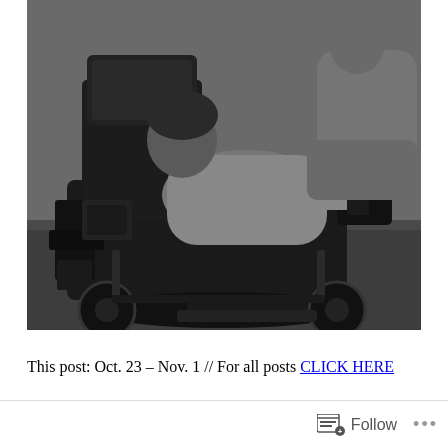[Figure (photo): Black and white photograph of a person lying in a motorized wheelchair/scooter on grass, with other people visible in the background. The wheelchair has various mechanical components visible.]
This post: Oct. 23 – Nov. 1 // For all posts CLICK HERE
Follow ···